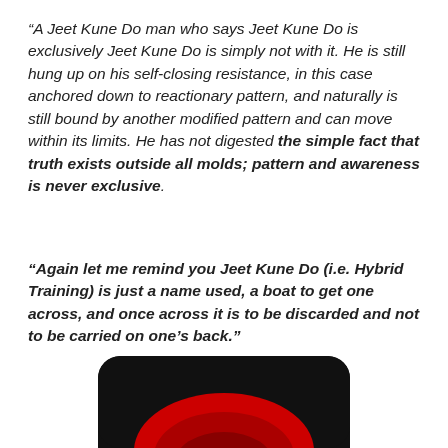“A Jeet Kune Do man who says Jeet Kune Do is exclusively Jeet Kune Do is simply not with it. He is still hung up on his self-closing resistance, in this case anchored down to reactionary pattern, and naturally is still bound by another modified pattern and can move within its limits. He has not digested the simple fact that truth exists outside all molds; pattern and awareness is never exclusive.
“Again let me remind you Jeet Kune Do (i.e. Hybrid Training) is just a name used, a boat to get one across, and once across it is to be discarded and not to be carried on one’s back.”
[Figure (photo): Partial image showing a black rounded rectangle background with a red circular/semicircular design visible at the bottom of the page]